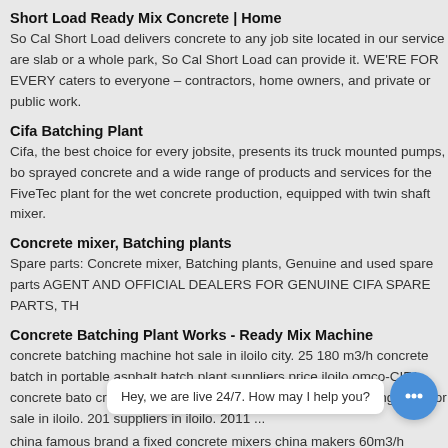Short Load Ready Mix Concrete | Home
So Cal Short Load delivers concrete to any job site located in our service are slab or a whole park, So Cal Short Load can provide it. WE'RE FOR EVERY caters to everyone – contractors, home owners, and private or public work.
Cifa Batching Plant
Cifa, the best choice for every jobsite, presents its truck mounted pumps, bo sprayed concrete and a wide range of products and services for the FiveTec plant for the wet concrete production, equipped with twin shaft mixer.
Concrete mixer, Batching plants
Spare parts: Concrete mixer, Batching plants, Genuine and used spare parts AGENT AND OFFICIAL DEALERS FOR GENUINE CIFA SPARE PARTS, TH
Concrete Batching Plant Works - Ready Mix Machine
concrete batching machine hot sale in iloilo city. 25 180 m3/h concrete batch in portable asphalt batch plant suppliers price iloilo omco-CIFA concrete bato crushing & screening equipment ; concrete mixing plant for sale in iloilo. 201 suppliers in iloilo. 2011 ...
china famous brand a fixed concrete mixers china makers 60m3/h
concrete pole cifa concrete pump parts machine
Spare Parts Concr... ba... m offers 1,518 spare parts concrete pump cifa products. About 81%... e an parts, 9% are concrete pumps, and 1% are other material handling equip...